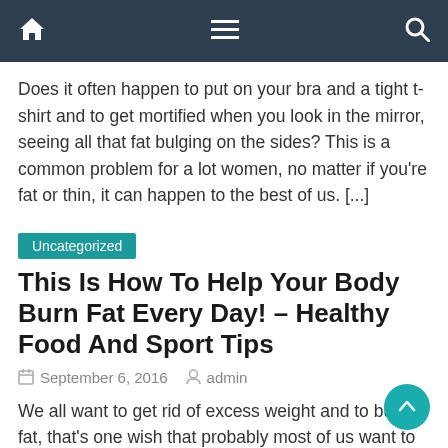Navigation bar with home, menu, and search icons
Does it often happen to put on your bra and a tight t-shirt and to get mortified when you look in the mirror, seeing all that fat bulging on the sides? This is a common problem for a lot women, no matter if you're fat or thin, it can happen to the best of us. [...]
Uncategorized
This Is How To Help Your Body Burn Fat Every Day! – Healthy Food And Sport Tips
September 6, 2016   admin
We all want to get rid of excess weight and to burn fat, that's one wish that probably most of us want to accomplish. There are several natural ways to burn belly fat. Most of these remedies can be already found in your refrigerator or kitchen cupboard. According to experienced dieticians, the right kind of [...]